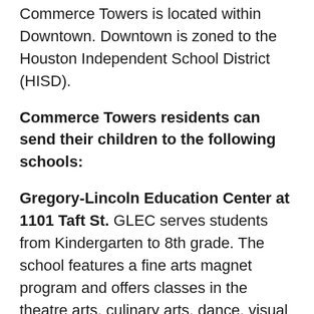Commerce Towers is located within Downtown. Downtown is zoned to the Houston Independent School District (HISD).
Commerce Towers residents can send their children to the following schools:
Gregory-Lincoln Education Center at 1101 Taft St. GLEC serves students from Kindergarten to 8th grade. The school features a fine arts magnet program and offers classes in the theatre arts, culinary arts, dance, visual arts, multimedia arts, and vocal music.
Northside High School at 1101 Quitman St. The formerly named Jefferson Davis High School features a Hotel and Restaurant Management magnet program.